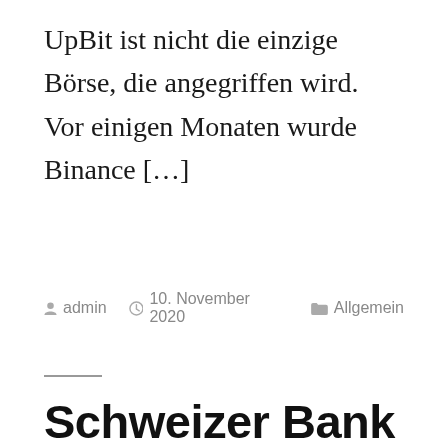UpBit ist nicht die einzige Börse, die angegriffen wird. Vor einigen Monaten wurde Binance […]
Von admin   10. November 2020   Allgemein
Schweizer Bank sagt, Goldman Sachs irrt